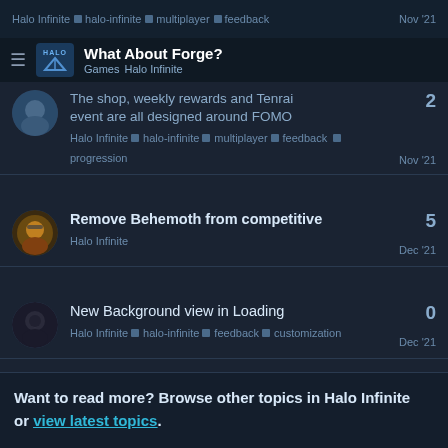Halo Infinite ▪ halo-infinite ▪ multiplayer ▪ feedback  Nov '21
What About Forge?
Games  Halo Infinite
The shop, weekly rewards and Tenrai event are all designed around FOMO
Halo Infinite ▪ halo-infinite ▪ multiplayer ▪ feedback ▪ progression
Nov '21  replies: 2
Remove Behemoth from competitive
Halo Infinite
Dec '21  replies: 5
New Background view in Loading
Halo Infinite ▪ halo-infinite ▪ feedback ▪ customization
Dec '21  replies: 0
Can we talk about weapon and sandbox balancing?
Halo Infinite
Nov '21  replies: 1
Want to read more? Browse other topics in Halo Infinite or view latest topics.